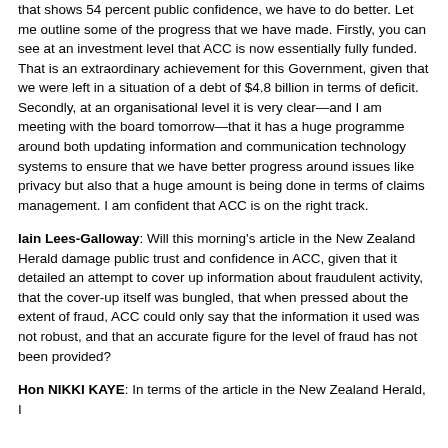that shows 54 percent public confidence, we have to do better. Let me outline some of the progress that we have made. Firstly, you can see at an investment level that ACC is now essentially fully funded. That is an extraordinary achievement for this Government, given that we were left in a situation of a debt of $4.8 billion in terms of deficit. Secondly, at an organisational level it is very clear—and I am meeting with the board tomorrow—that it has a huge programme around both updating information and communication technology systems to ensure that we have better progress around issues like privacy but also that a huge amount is being done in terms of claims management. I am confident that ACC is on the right track.
Iain Lees-Galloway: Will this morning's article in the New Zealand Herald damage public trust and confidence in ACC, given that it detailed an attempt to cover up information about fraudulent activity, that the cover-up itself was bungled, that when pressed about the extent of fraud, ACC could only say that the information it used was not robust, and that an accurate figure for the level of fraud has not been provided?
Hon NIKKI KAYE: In terms of the article in the New Zealand Herald, I